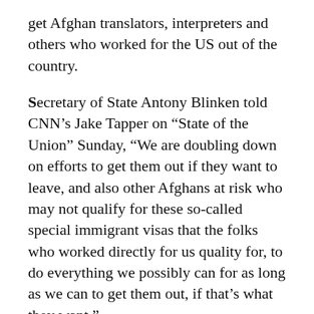get Afghan translators, interpreters and others who worked for the US out of the country.
Secretary of State Antony Blinken told CNN's Jake Tapper on “State of the Union” Sunday, “We are doubling down on efforts to get them out if they want to leave, and also other Afghans at risk who may not qualify for these so-called special immigrant visas that the folks who worked directly for us quality for, to do everything we possibly can for as long as we can to get them out, if that’s what they want.”
According to sources familiar with the matter,